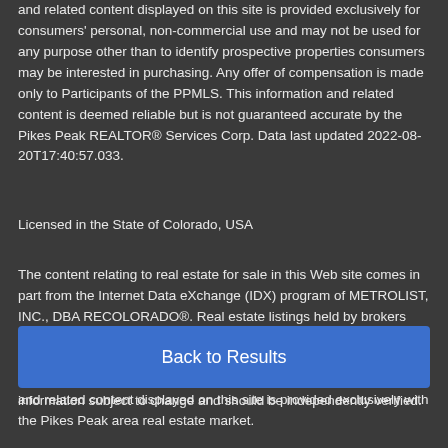and related content displayed on this site is provided exclusively for consumers' personal, non-commercial use and may not be used for any purpose other than to identify prospective properties consumers may be interested in purchasing. Any offer of compensation is made only to Participants of the PPMLS. This information and related content is deemed reliable but is not guaranteed accurate by the Pikes Peak REALTOR® Services Corp. Data last updated 2022-08-20T17:40:57.033.
Licensed in the State of Colorado, USA
The content relating to real estate for sale in this Web site comes in part from the Internet Data eXchange (IDX) program of METROLIST, INC., DBA RECOLORADO®. Real estate listings held by brokers other than The Daniels Team are marked with the IDX Logo. This information is being provided for the consumers' personal, non-commercial use and may not be used for any other purpose. All information subject to change and should be independently verified.
Back to Results